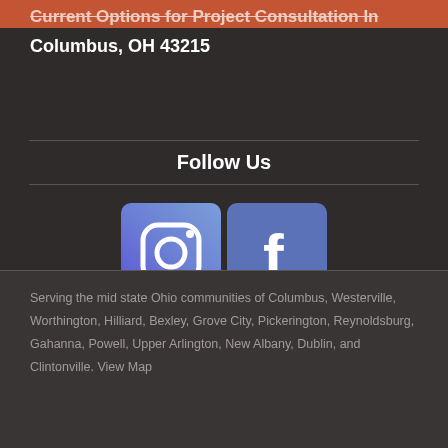Current Options for Project Consultation In Columbus, OH 43215
Follow Us
[Figure (logo): Instagram and Facebook social media icons side by side. Instagram icon is a purple-blue square with a white Instagram camera logo. Facebook icon is a blue square with a white lowercase f logo.]
Serving the mid state Ohio communities of Columbus, Westerville, Worthington, Hilliard, Bexley, Grove City, Pickerington, Reynoldsburg, Gahanna, Powell, Upper Arlington, New Albany, Dublin, and Clintonville. View Map